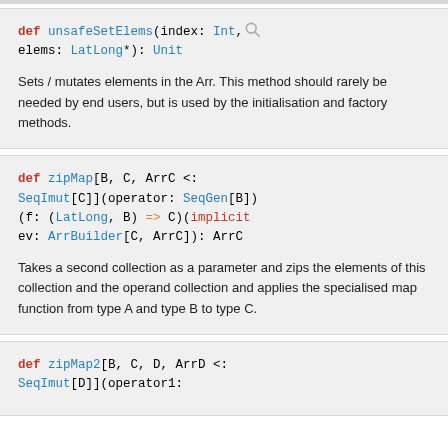def unsafeSetElems(index: Int, elems: LatLong*): Unit
Sets / mutates elements in the Arr. This method should rarely be needed by end users, but is used by the initialisation and factory methods.
def zipMap[B, C, ArrC <: SeqImut[C]](operator: SeqGen[B])(f: (LatLong, B) => C)(implicit ev: ArrBuilder[C, ArrC]): ArrC
Takes a second collection as a parameter and zips the elements of this collection and the operand collection and applies the specialised map function from type A and type B to type C.
def zipMap2[B, C, D, ArrD <: SeqImut[D]](operator1: SeqGen[D]...